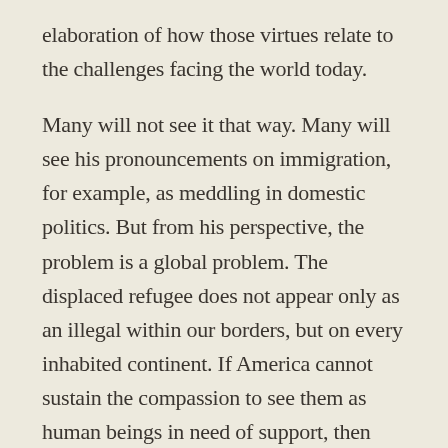elaboration of how those virtues relate to the challenges facing the world today.
Many will not see it that way. Many will see his pronouncements on immigration, for example, as meddling in domestic politics. But from his perspective, the problem is a global problem. The displaced refugee does not appear only as an illegal within our borders, but on every inhabited continent. If America cannot sustain the compassion to see them as human beings in need of support, then what nation can?
And so with his civics lesson: our tolerance of